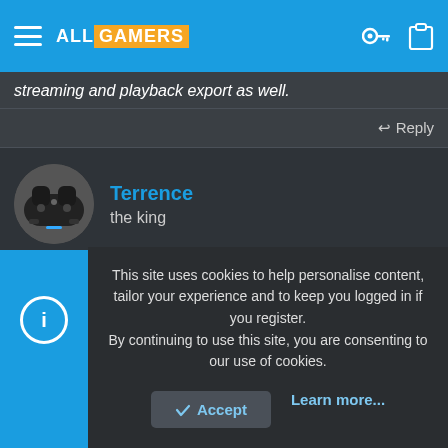ALL GAMERS
streaming and playback export as well.
↩ Reply
Terrence
the king
Nov 27, 2020  #15
I use Fraps software to record my games. But i use handbrake too for shrink its size, since fraps records in high fps and resolution which increase the videos size in GBs. OBS studio is another good
This site uses cookies to help personalise content, tailor your experience and to keep you logged in if you register.
By continuing to use this site, you are consenting to our use of cookies.
Accept
Learn more...